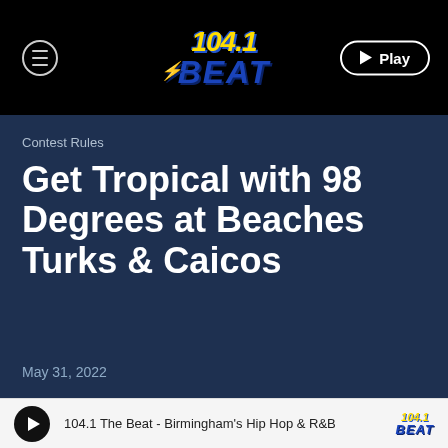[Figure (logo): 104.1 The Beat radio station logo and navigation bar with hamburger menu button and Play button]
Contest Rules
Get Tropical with 98 Degrees at Beaches Turks & Caicos
May 31, 2022
[Figure (screenshot): Bottom player bar showing 104.1 The Beat - Birmingham's Hip Hop & R&B with play button and station logo]